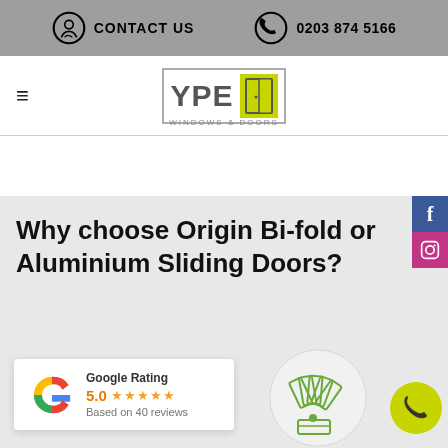CONTACT US | 0203 874 5166
[Figure (logo): YPE Windows & Doors logo with green door icon]
Why choose Origin Bi-fold or Aluminium Sliding Doors?
[Figure (infographic): Google Rating card showing 5.0 stars based on 40 reviews]
[Figure (illustration): Color swatch fan icon in green outline style]
[Figure (illustration): Green phone call button circle]